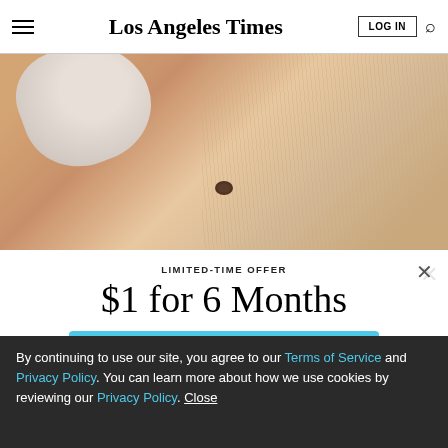Los Angeles Times
[Figure (photo): Close-up of a gloved hand examining a mole on skin, with hair visible in background]
LIMITED-TIME OFFER
$1 for 6 Months
SUBSCRIBE NOW
By continuing to use our site, you agree to our Terms of Service and Privacy Policy. You can learn more about how we use cookies by reviewing our Privacy Policy. Close